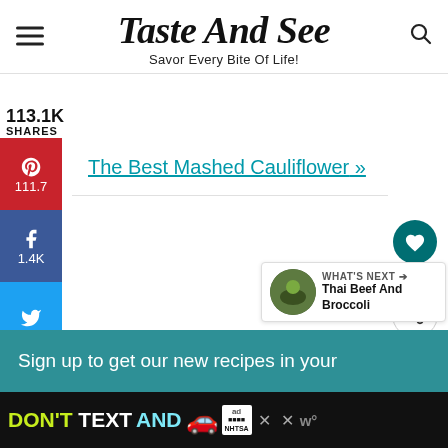Taste And See — Savor Every Bite Of Life!
113.1K SHARES
[Figure (infographic): Pinterest social share button with heart/pin icon and count 111.7]
[Figure (infographic): Facebook social share button with f icon and count 1.4K]
[Figure (infographic): Twitter social share button with bird icon]
[Figure (infographic): Flipboard social share button with F icon]
The Best Mashed Cauliflower »
[Figure (infographic): Heart/favorite button with count 115K and share button]
[Figure (infographic): What's Next panel showing Thai Beef And Broccoli]
Sign up to get our new recipes in your
[Figure (infographic): DON'T TEXT AND advertisement banner with NHTSA logo and car emoji]